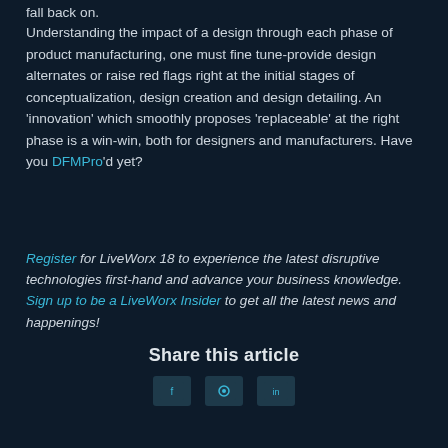fall back on.
Understanding the impact of a design through each phase of product manufacturing, one must fine tune-provide design alternates or raise red flags right at the initial stages of conceptualization, design creation and design detailing. An 'innovation' which smoothly proposes 'replaceable' at the right phase is a win-win, both for designers and manufacturers. Have you DFMPro'd yet?
Register for LiveWorx 18 to experience the latest disruptive technologies first-hand and advance your business knowledge. Sign up to be a LiveWorx Insider to get all the latest news and happenings!
Share this article